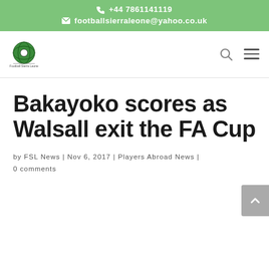📞 +44 7861141119 | ✉ footballsierraleone@yahoo.co.uk
[Figure (logo): Football Sierra Leone logo — globe with football pattern and text beneath]
Bakayoko scores as Walsall exit the FA Cup
by FSL News | Nov 6, 2017 | Players Abroad News | 0 comments